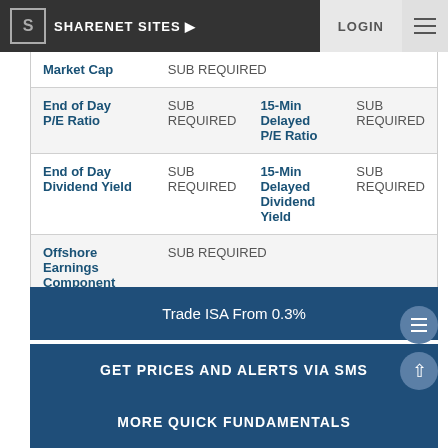SHARENET SITES | LOGIN
| Market Cap | SUB REQUIRED |  |  |
| End of Day P/E Ratio | SUB REQUIRED | 15-Min Delayed P/E Ratio | SUB REQUIRED |
| End of Day Dividend Yield | SUB REQUIRED | 15-Min Delayed Dividend Yield | SUB REQUIRED |
| Offshore Earnings Component | SUB REQUIRED |  |  |
Trade ISA From 0.3%
GET PRICES AND ALERTS VIA SMS
MORE QUICK FUNDAMENTALS